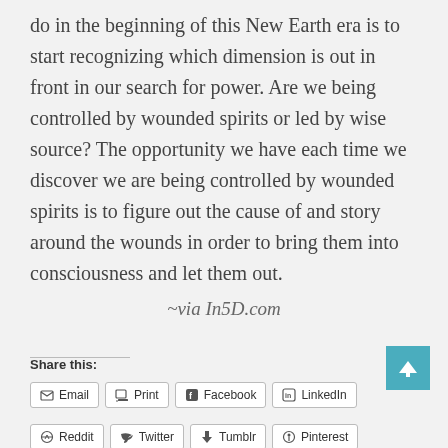do in the beginning of this New Earth era is to start recognizing which dimension is out in front in our search for power. Are we being controlled by wounded spirits or led by wise source? The opportunity we have each time we discover we are being controlled by wounded spirits is to figure out the cause of and story around the wounds in order to bring them into consciousness and let them out.
~via In5D.com
Share this:
Email  Print  Facebook  LinkedIn
Reddit  Twitter  Tumblr  Pinterest